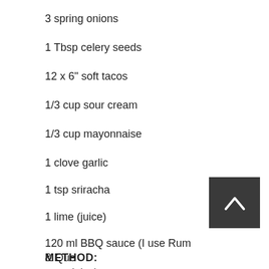3 spring onions
1 Tbsp celery seeds
12 x 6" soft tacos
1/3 cup sour cream
1/3 cup mayonnaise
1 clove garlic
1 tsp sriracha
1 lime (juice)
120 ml BBQ sauce (I use Rum & Que meat juice)
METHOD: